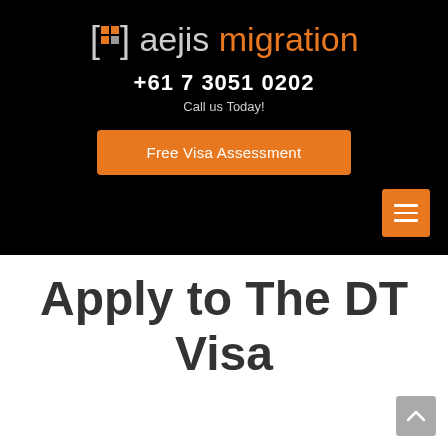[Figure (logo): aejis migration logo with orange bracket icon and wordmark on black background]
+61 7 3051 0202
Call us Today!
Free Visa Assessment
Apply to The DT Visa